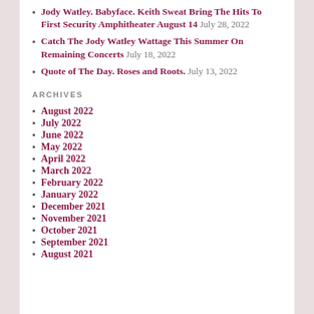Jody Watley. Babyface. Keith Sweat Bring The Hits To First Security Amphitheater August 14 July 28, 2022
Catch The Jody Watley Wattage This Summer On Remaining Concerts July 18, 2022
Quote of The Day. Roses and Roots. July 13, 2022
ARCHIVES
August 2022
July 2022
June 2022
May 2022
April 2022
March 2022
February 2022
January 2022
December 2021
November 2021
October 2021
September 2021
August 2021